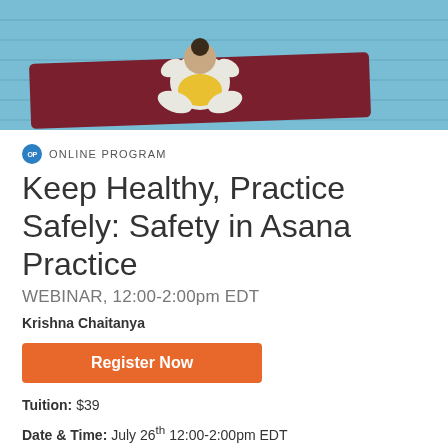[Figure (photo): Yoga practitioner seated on a dark red/maroon yoga mat on a light blue wooden deck floor, photographed from above. Person wearing white clothing with yellow accents, in a seated meditation/forward fold pose.]
OP ONLINE PROGRAM
Keep Healthy, Practice Safely: Safety in Asana Practice
WEBINAR, 12:00-2:00pm EDT
Krishna Chaitanya
Register Now
Tuition: $39
Date & Time: July 26th 12:00-2:00pm EDT